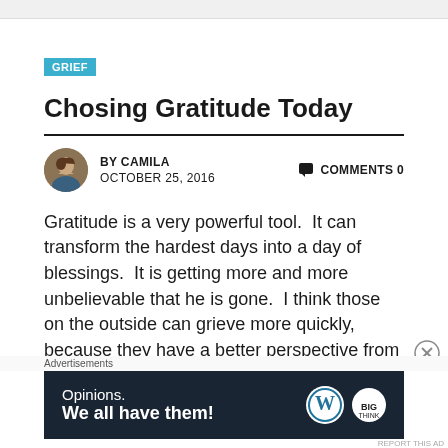GRIEF
Chosing Gratitude Today
BY CAMILA  OCTOBER 25, 2016  COMMENTS 0
Gratitude is a very powerful tool.  It can transform the hardest days into a day of blessings.  It is getting more and more unbelievable that he is gone.  I think those on the outside can grieve more quickly, because they have a better perspective from the outside.  From the inside, everything is grey and blurry, and I can hardly see what happened or what
Advertisements
[Figure (infographic): WordPress advertisement banner: 'Opinions. We all have them!' with WordPress and BIG Think logos on dark background]